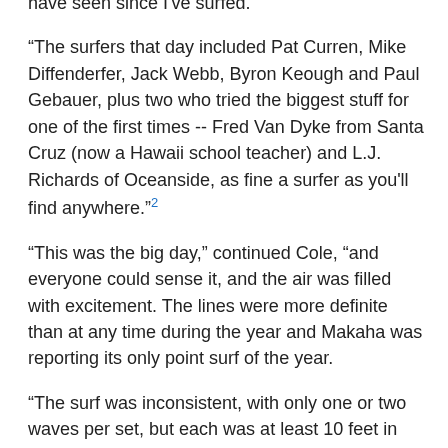have seen since I've surfed.
“The surfers that day included Pat Curren, Mike Diffenderfer, Jack Webb, Byron Keough and Paul Gebauer, plus two who tried the biggest stuff for one of the first times -- Fred Van Dyke from Santa Cruz (now a Hawaii school teacher) and L.J. Richards of Oceanside, as fine a surfer as you’ll find anywhere.”²
“This was the big day,” continued Cole, “and everyone could sense it, and the air was filled with excitement. The lines were more definite than at any time during the year and Makaha was reporting its only point surf of the year.
“The surf was inconsistent, with only one or two waves per set, but each was at least 10 feet in size. Diffenderfer took off on the first big one and dropped straight to the bottom.
“Then Gebauer, who rode more waves than anyone that day because of an almost inhuman aggressiveness, took off way inside on a 20-foot-plus wave and Van Dyke on his outside rode extremely high and made the wave as Paul ‘souped